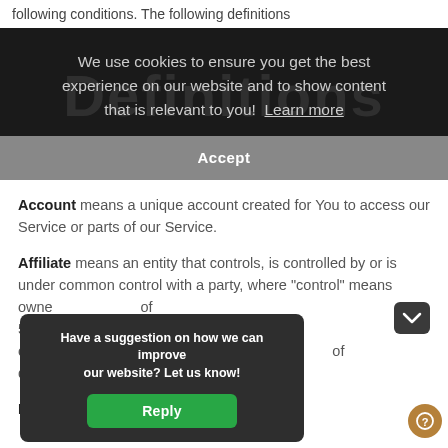following conditions. The following definitions
We use cookies to ensure you get the best experience on our website and to show content that is relevant to you! Learn more
Accept
Account means a unique account created for You to access our Service or parts of our Service.
Affiliate means an entity that controls, is controlled by or is under common control with a party, where "control" means owne... of 50%... oth... of dir...
Bur...
Have a suggestion on how we can improve our website? Let us know!
Reply